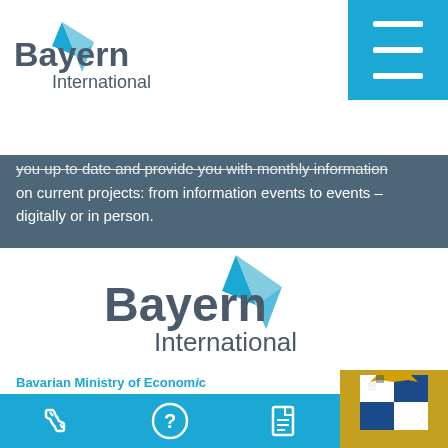[Figure (logo): Bayern International logo in top-left, with cyan paper-plane icon and gray text]
[Figure (other): Hamburger menu button on cyan/blue background top-right]
you up to date and provide you with monthly information on current projects: from information events to events – digitally or in person.
[Figure (other): Email input field with placeholder text 'Your mail address' on gray background]
[Figure (logo): Bayern International logo centered, larger version]
Bavarian Ministry of Economic Regional Development an
[Figure (other): Bavarian coat of arms partially visible top right of footer]
[Figure (infographic): Cyan bottom bar with phone, question mark, and document icons]